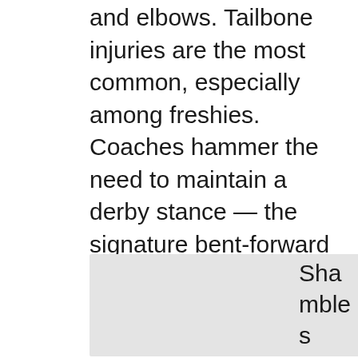and elbows. Tailbone injuries are the most common, especially among freshies. Coaches hammer the need to maintain a derby stance — the signature bent-forward posture that minimizes injury. But falls are inevitable, and coaches protect their players by drilling them with practice on how to make peace with the floor: hit with forearms down and extended, not on elbows or wrists.
[Figure (photo): A partially visible photograph or image with a grey/light background, positioned in the lower portion of the page. Alongside it, text reading 'Shambles and' appears to the right.]
Shambles and